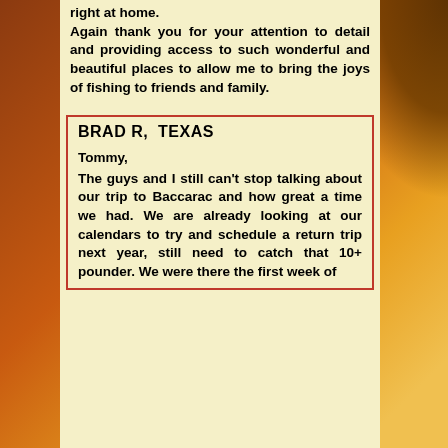right at home. Again thank you for your attention to detail and providing access to such wonderful and beautiful places to allow me to bring the joys of fishing to friends and family.
BRAD R,  TEXAS
Tommy, The guys and I still can't stop talking about our trip to Baccarac and how great a time we had. We are already looking at our calendars to try and schedule a return trip next year, still need to catch that 10+ pounder. We were there the first week of